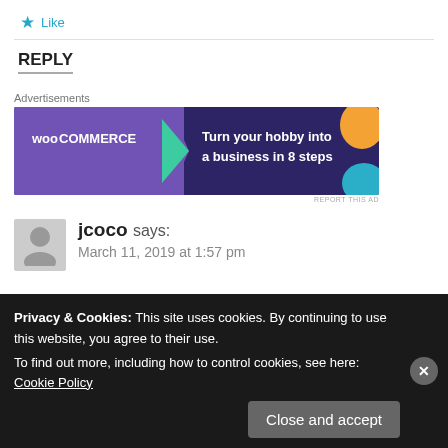★ Like
REPLY
Advertisements
[Figure (illustration): WooCommerce advertisement banner: 'Turn your hobby into a business in 8 steps']
REPORT THIS AD
jcoco says:
March 11, 2019 at 1:57 pm
Privacy & Cookies: This site uses cookies. By continuing to use this website, you agree to their use.
To find out more, including how to control cookies, see here: Cookie Policy
Close and accept